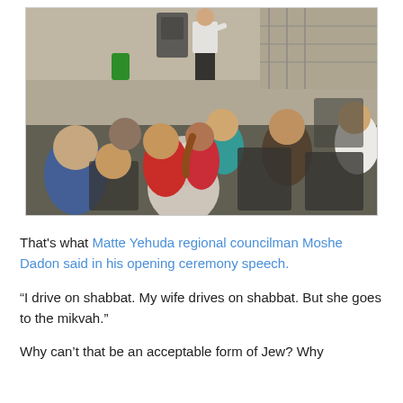[Figure (photo): Outdoor gathering with people seated in plastic chairs facing a speaker standing at the front. The scene appears to be an evening event in an outdoor courtyard or patio area.]
That's what Matte Yehuda regional councilman Moshe Dadon said in his opening ceremony speech.
“I drive on shabbat. My wife drives on shabbat. But she goes to the mikvah.”
Why can't that be an acceptable form of Jew? Why